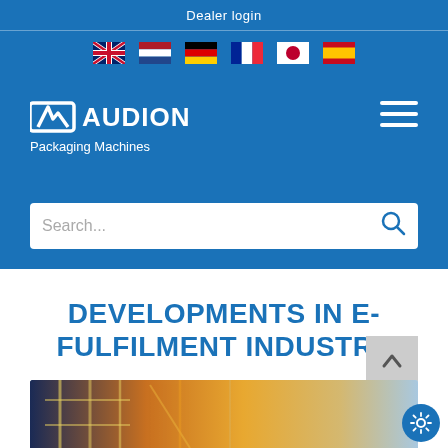Dealer login
[Figure (illustration): Six country flag icons in a row: UK, Netherlands, Germany, France, Japan, Spain]
[Figure (logo): Audion Packaging Machines logo - white text with stylized AE icon on blue background, with hamburger menu icon on the right]
[Figure (screenshot): Search bar with placeholder text 'Search...' and a search icon on blue background]
DEVELOPMENTS IN E-FULFILMENT INDUSTRY
[Figure (photo): Industrial/warehouse interior with yellow scaffolding structures and warm orange lighting]